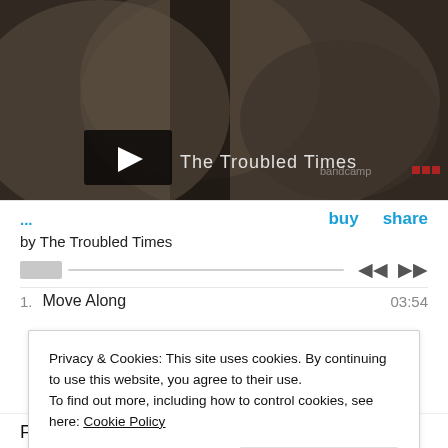[Figure (screenshot): Dark-toned video thumbnail showing a close-up of an elephant, with a play button icon in the lower-left, text 'The Troubled Times' overlaid, and a Bandcamp logo watermark in the lower-right corner.]
... buy share
by The Troubled Times
1. Move Along 03:54
Privacy & Cookies: This site uses cookies. By continuing to use this website, you agree to their use.
To find out more, including how to control cookies, see here: Cookie Policy
Close and accept
For this EP The Troubled Times is Dave Edwards